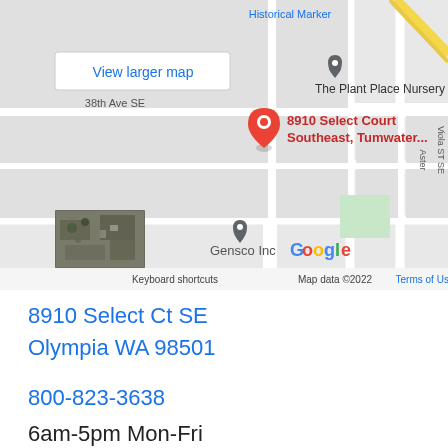[Figure (map): Google Map screenshot showing 8910 Select Court Southeast, Tumwater area. Shows The Plant Place Nursery, Gensco Inc, street labels including 38th Ave SE, Viola ST SE, Aster. Red pin marks 8910 Select Court Southeast, Tumwater. Google logo, keyboard shortcuts, Map data ©2022, Terms of Use visible. 'View larger map' button in top left.]
8910 Select Ct SE
Olympia WA 98501
800-823-3638
6am-5pm Mon-Fri